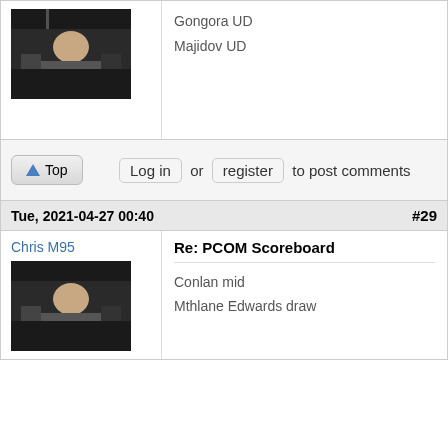[Figure (photo): Boxing scene photo, upper post avatar]
Gongora UD
Majidov UD
Top  Log in or register to post comments
Tue, 2021-04-27 00:40  #29
Chris M95
[Figure (photo): Boxing scene photo, Chris M95 avatar]
Re: PCOM Scoreboard
Conlan mid
Mthlane Edwards draw